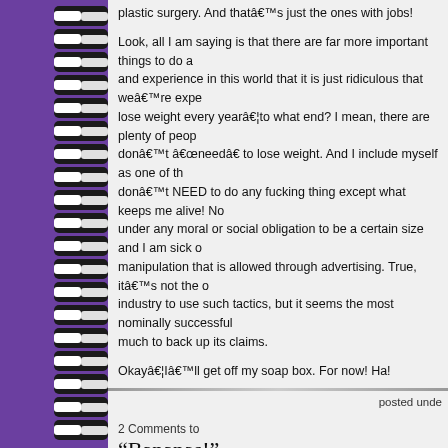plastic surgery. And thatâs just the ones with jobs!
Look, all I am saying is that there are far more important things to do and experience in this world that it is just ridiculous that weâre expected to lose weight every yearâ¦to what end? I mean, there are plenty of people who donât “need” to lose weight. And I include myself as one of them. I donât NEED to do any fucking thing except what keeps me alive! No one is under any moral or social obligation to be a certain size and I am sick of the manipulation that is allowed through advertising. True, itâs not the only industry to use such tactics, but it seems the most nominally successful with not much to back up its claims.
Okayâ¦Iâll get off my soap box. For now! Ha!
posted unde
2 Comments to
“Bananas!”
On January 5th, 2010 at 7:06 pm
j. Says: